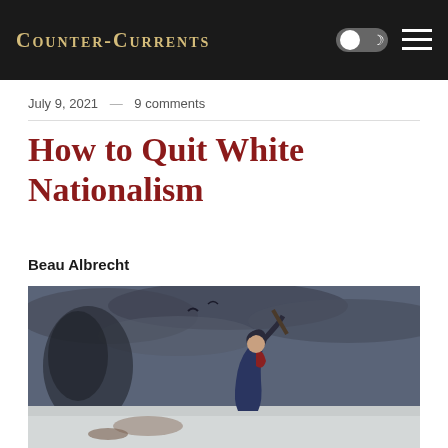Counter-Currents
July 9, 2021 — 9 comments
How to Quit White Nationalism
Beau Albrecht
[Figure (photo): A painting of a soldier in dark and stormy battlefield setting, holding a rifle, wearing a blue coat with red accents, looking upward against a dramatic cloudy sky with a snow-covered ground.]